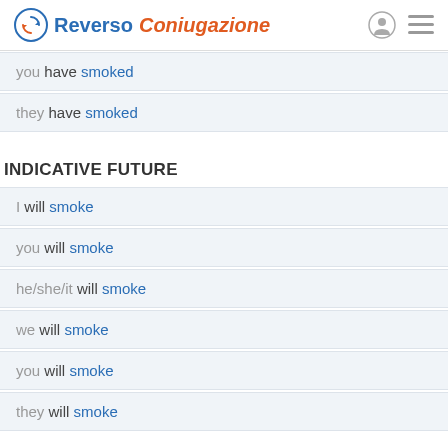Reverso Coniugazione
you have smoked
they have smoked
INDICATIVE FUTURE
I will smoke
you will smoke
he/she/it will smoke
we will smoke
you will smoke
they will smoke
INDICATIVE FUTURE PERFECT